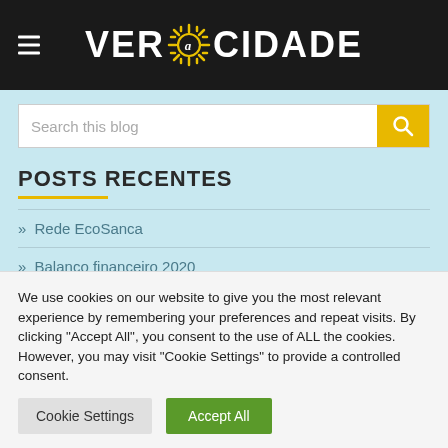VER A CIDADE
Search this blog
POSTS RECENTES
» Rede EcoSanca
» Balanço financeiro 2020
» Balanco financeiro 2019
We use cookies on our website to give you the most relevant experience by remembering your preferences and repeat visits. By clicking "Accept All", you consent to the use of ALL the cookies. However, you may visit "Cookie Settings" to provide a controlled consent.